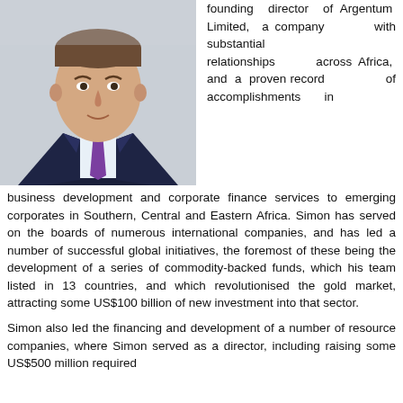[Figure (photo): Professional headshot of a man in a dark suit with a purple tie, light blue shirt, against a light background]
founding director of Argentum Limited, a company with substantial relationships across Africa, and a proven record of accomplishments in business development and corporate finance services to emerging corporates in Southern, Central and Eastern Africa. Simon has served on the boards of numerous international companies, and has led a number of successful global initiatives, the foremost of these being the development of a series of commodity-backed funds, which his team listed in 13 countries, and which revolutionised the gold market, attracting some US$100 billion of new investment into that sector.
Simon also led the financing and development of a number of resource companies, where Simon served as a director, including raising some US$500 million required